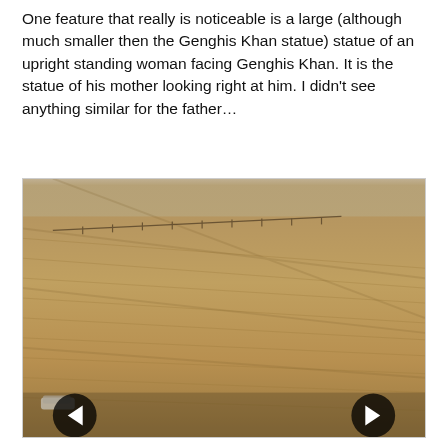One feature that really is noticeable is a large (although much smaller then the Genghis Khan statue) statue of an upright standing woman facing Genghis Khan. It is the statue of his mother looking right at him. I didn't see anything similar for the father...
[Figure (photo): Aerial or elevated photograph of a wide open steppe / grassland landscape with dry brownish-tan grass. A faint line of low structures or fence runs diagonally across the upper portion of the image. A small white vehicle is barely visible at the bottom left. Navigation arrows (left and right) are overlaid at the bottom of the image.]